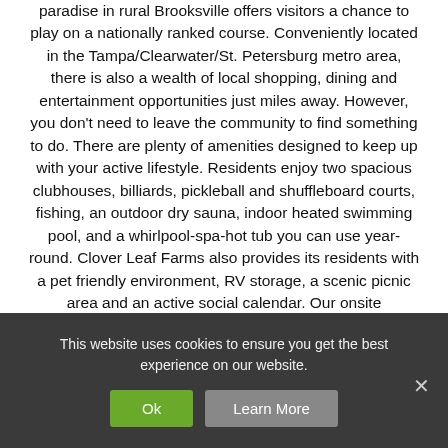paradise in rural Brooksville offers visitors a chance to play on a nationally ranked course. Conveniently located in the Tampa/Clearwater/St. Petersburg metro area, there is also a wealth of local shopping, dining and entertainment opportunities just miles away. However, you don't need to leave the community to find something to do. There are plenty of amenities designed to keep up with your active lifestyle. Residents enjoy two spacious clubhouses, billiards, pickleball and shuffleboard courts, fishing, an outdoor dry sauna, indoor heated swimming pool, and a whirlpool-spa-hot tub you can use year-round. Clover Leaf Farms also provides its residents with a pet friendly environment, RV storage, a scenic picnic area and an active social calendar. Our onsite professional management is dedicated to ensuring your satisfaction from a...
This website uses cookies to ensure you get the best experience on our website.
Ok
Learn More